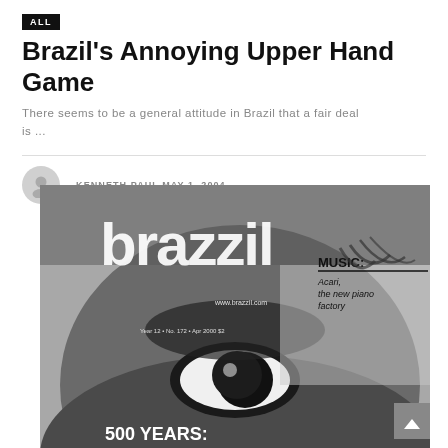ALL
Brazil's Annoying Upper Hand Game
There seems to be a general attitude in Brazil that a fair deal is ...
-KENNETH PAUL MAY 1, 2004
[Figure (photo): Black and white Brazzil magazine cover showing a close-up of a person's eye, with 'brazzil' logo text, 'MUSIC: Acari, the new piano factory', 'Year 12 No. 172 Apr 2000 $2', and '500 YEARS:' text at bottom]